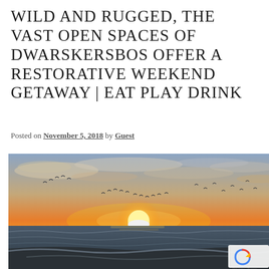WILD AND RUGGED, THE VAST OPEN SPACES OF DWARSKERSBOS OFFER A RESTORATIVE WEEKEND GETAWAY | EAT PLAY DRINK
Posted on November 5, 2018 by Guest
[Figure (photo): A beach sunset photograph showing the sun setting over the ocean with birds flying in formation across an orange and blue sky. Waves wash onto a dark sandy shore in the foreground.]